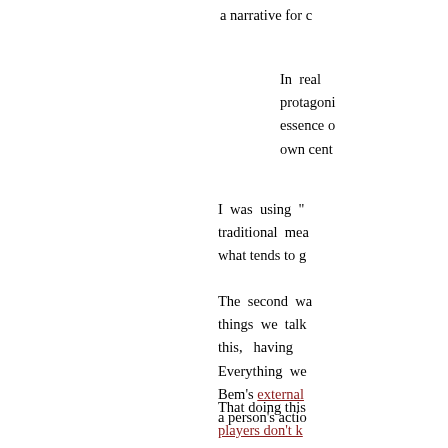a narrative for c
In real protagoni essence o own cent
I was using “ traditional mea what tends to g
The second wa things we talk this, having Everything we Bem’s external a person’s actio
That doing this players don’t k
Okay, rea is actually